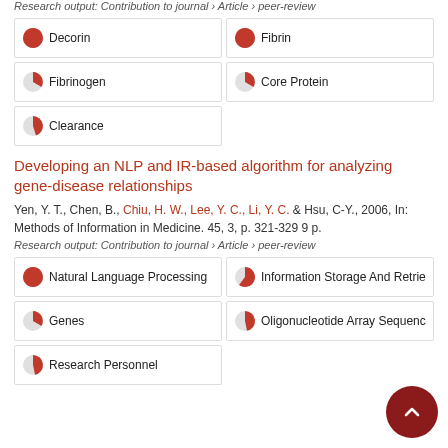Research output: Contribution to journal › Article › peer-review
Decorin
Fibrin
Fibrinogen
Core Protein
Clearance
Developing an NLP and IR-based algorithm for analyzing gene-disease relationships
Yen, Y. T., Chen, B., Chiu, H. W., Lee, Y. C., Li, Y. C. & Hsu, C-Y., 2006, In: Methods of Information in Medicine. 45, 3, p. 321-329 9 p.
Research output: Contribution to journal › Article › peer-review
Natural Language Processing
Information Storage And Retrie
Genes
Oligonucleotide Array Sequenc
Research Personnel